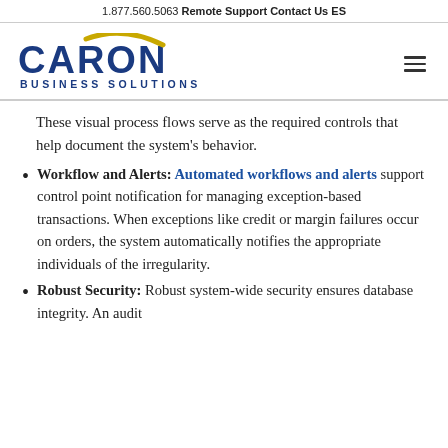1.877.560.5063   Remote Support   Contact Us   ES
[Figure (logo): Caron Business Solutions logo with gold swoosh over letter A]
These visual process flows serve as the required controls that help document the system's behavior.
Workflow and Alerts: Automated workflows and alerts support control point notification for managing exception-based transactions. When exceptions like credit or margin failures occur on orders, the system automatically notifies the appropriate individuals of the irregularity.
Robust Security: Robust system-wide security ensures database integrity. An audit